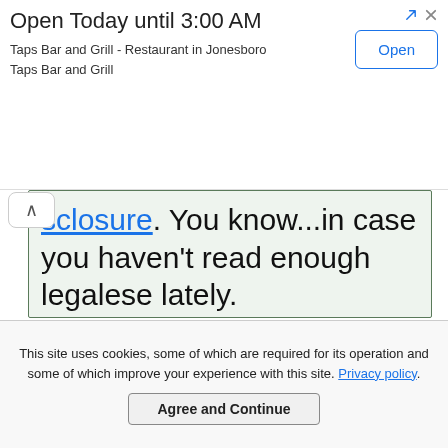[Figure (screenshot): Advertisement banner: 'Open Today until 3:00 AM' for Taps Bar and Grill - Restaurant in Jonesboro, with an 'Open' button on the right.]
sclosure. You know...in case you haven't read enough legalese lately.
[Figure (illustration): Green winking smiley face emoji/ball illustration]
This site uses cookies, some of which are required for its operation and some of which improve your experience with this site. Privacy policy.
Agree and Continue